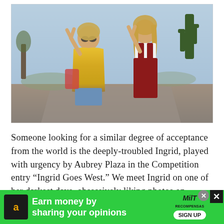[Figure (photo): Two young women making peace signs with their hands, standing on a desert road. Left woman wears yellow floral jacket and sunglasses; right woman wears red overalls and white top. Desert landscape with Joshua trees in background.]
Someone looking for a similar degree of acceptance from the world is the deeply-troubled Ingrid, played with urgency by Aubrey Plaza in the Competition entry “Ingrid Goes West.” We meet Ingrid on one of her darkest days, obsessively liking photos on Instagram. We see a couple preparing for a wedding
[Figure (other): Green advertisement banner: Amazon icon on left, bold white text 'Earn money by sharing your opinions', MiloRecompensas logo and SIGN UP button on right. Close buttons (circle X and square X) at top right.]